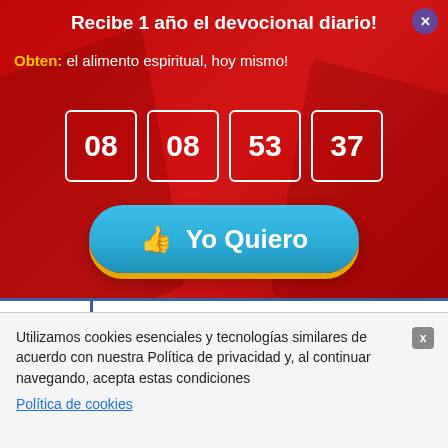Recibe 1 año el devocional diario!
Obten: el alimento espiritual, hoy mismo!
08  08  53  37
👍 Yo Quiero
The Word of God tells us how to handle those situations through a clear
Utilizamos cookies esenciales y tecnologías similares de acuerdo con nuestra Política de privacidad y, al continuar navegando, acepta estas condiciones
Política de cookies